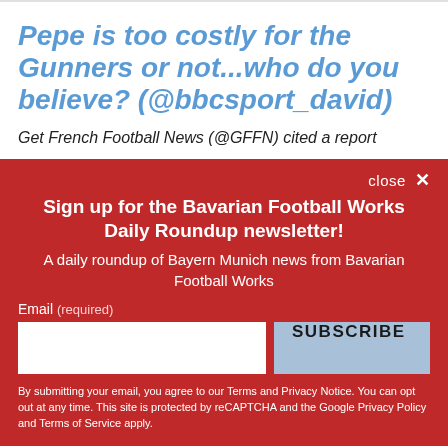Pepe is too costly for the Gunners or not...who do you believe? (@bbcsport_david)
Get French Football News (@GFFN) cited a report
close ×
Sign up for the Bavarian Football Works Daily Roundup newsletter!
A daily roundup of Bayern Munich news from Bavarian Football Works
Email (required)
SUBSCRIBE
By submitting your email, you agree to our Terms and Privacy Notice. You can opt out at any time. This site is protected by reCAPTCHA and the Google Privacy Policy and Terms of Service apply.